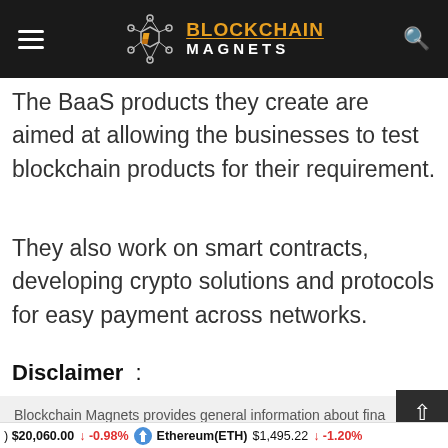BLOCKCHAIN MAGNETS
The BaaS products they create are aimed at allowing the businesses to test blockchain products for their requirement.
They also work on smart contracts, developing crypto solutions and protocols for easy payment across networks.
Disclaimer :
Blockchain Magnets provides general information about fina
) $20,060.00 ↓ -0.98%   Ethereum(ETH) $1,495.22 ↓ -1.20%